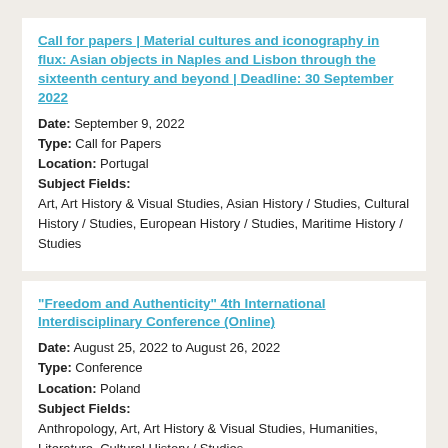Call for papers | Material cultures and iconography in flux: Asian objects in Naples and Lisbon through the sixteenth century and beyond | Deadline: 30 September 2022
Date: September 9, 2022
Type: Call for Papers
Location: Portugal
Subject Fields:
Art, Art History & Visual Studies, Asian History / Studies, Cultural History / Studies, European History / Studies, Maritime History / Studies
"Freedom and Authenticity" 4th International Interdisciplinary Conference (Online)
Date: August 25, 2022 to August 26, 2022
Type: Conference
Location: Poland
Subject Fields:
Anthropology, Art, Art History & Visual Studies, Humanities, Literature, Cultural History / Studies